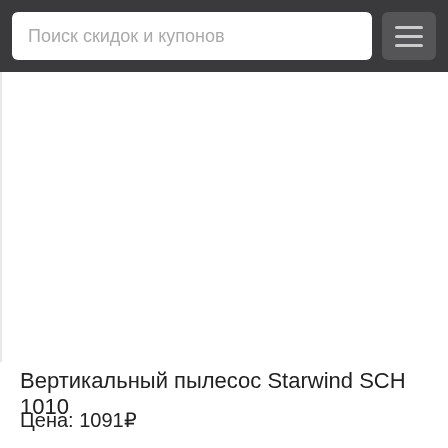Поиск скидок и купонов
[Figure (photo): Product image area — blank white space where vacuum cleaner image would appear]
Вертикальный пылесос Starwind SCH 1010
Цена: 1091₽